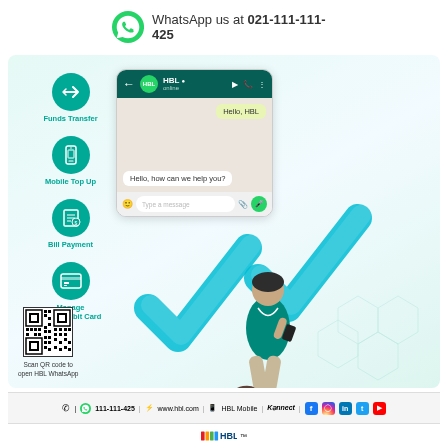[Figure (infographic): WhatsApp logo (green circle with phone icon)]
WhatsApp us at 021-111-111-425
[Figure (infographic): HBL WhatsApp Banking advertisement showing service icons (Funds Transfer, Mobile Top Up, Bill Payment, Manage Credit/Debit Card), a WhatsApp chat mockup with 'Hello, HBL' and 'Hello, how can we help you?', a man sitting on 3D blue tick marks, a QR code, and contact/social media footer]
Funds Transfer
Mobile Top Up
Bill Payment
Manage Credit/Debit Card
Scan QR code to open HBL WhatsApp
111-111-425 | www.hbl.com | HBL Mobile | Konnect | Facebook | Instagram | LinkedIn | Twitter | YouTube